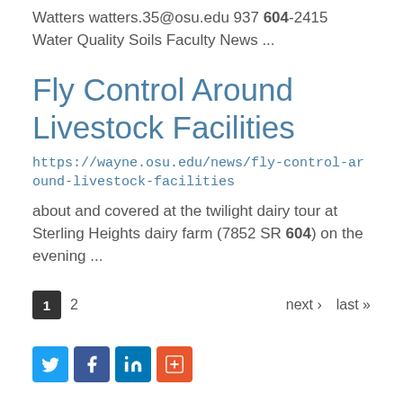Watters watters.35@osu.edu 937 604-2415 Water Quality Soils Faculty News ...
Fly Control Around Livestock Facilities
https://wayne.osu.edu/news/fly-control-around-livestock-facilities
about and covered at the twilight dairy tour at Sterling Heights dairy farm (7852 SR 604) on the evening ...
1 2 next › last »